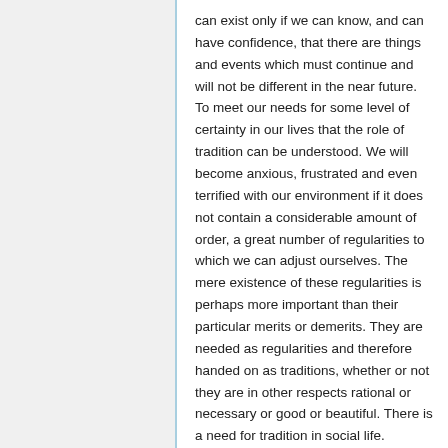can exist only if we can know, and can have confidence, that there are things and events which must continue and will not be different in the near future. To meet our needs for some level of certainty in our lives that the role of tradition can be understood. We will become anxious, frustrated and even terrified with our environment if it does not contain a considerable amount of order, a great number of regularities to which we can adjust ourselves. The mere existence of these regularities is perhaps more important than their particular merits or demerits. They are needed as regularities and therefore handed on as traditions, whether or not they are in other respects rational or necessary or good or beautiful. There is a need for tradition in social life.